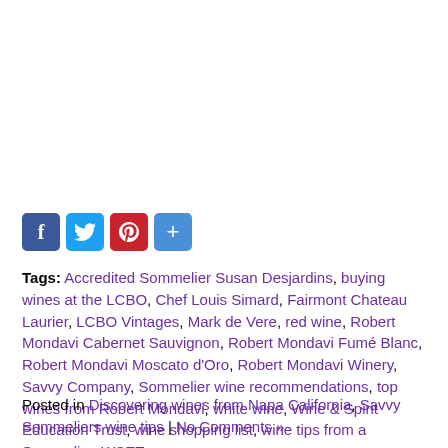[Figure (other): Social media share icons: Facebook (blue), Twitter (blue), Pinterest (red), Share (blue)]
Tags: Accredited Sommelier Susan Desjardins, buying wines at the LCBO, Chef Louis Simard, Fairmont Chateau Laurier, LCBO Vintages, Mark de Vere, red wine, Robert Mondavi Cabernet Sauvignon, Robert Mondavi Fumé Blanc, Robert Mondavi Moscato d'Oro, Robert Mondavi Winery, Savvy Company, Sommelier wine recommendations, top wines from Robert Mondavi, white wine, Wine & Spirit Education Trust, wine shopping list, wine tips from a Sommelier, WSET
Posted in Discovering wines from Napa California, Savvy Sommeliers wine tips | No Comments »